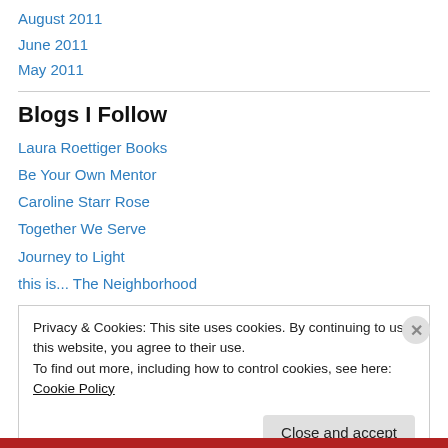August 2011
June 2011
May 2011
Blogs I Follow
Laura Roettiger Books
Be Your Own Mentor
Caroline Starr Rose
Together We Serve
Journey to Light
this is... The Neighborhood
Privacy & Cookies: This site uses cookies. By continuing to use this website, you agree to their use. To find out more, including how to control cookies, see here: Cookie Policy
Close and accept